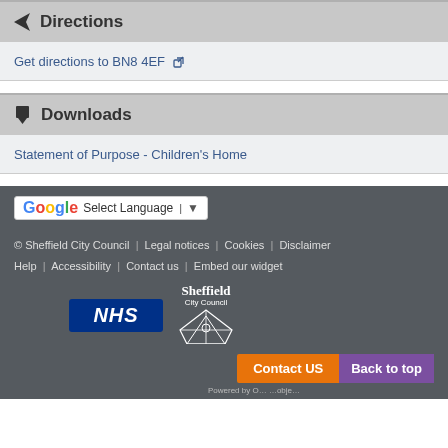Directions
Get directions to BN8 4EF
Downloads
Statement of Purpose - Children's Home
© Sheffield City Council   Legal notices   Cookies   Disclaimer   Help   Accessibility   Contact us   Embed our widget
[Figure (logo): NHS logo - dark blue background with NHS in white italic text]
[Figure (logo): Sheffield City Council logo with text and emblem]
Contact US
Back to top
Powered by O... ...obje...